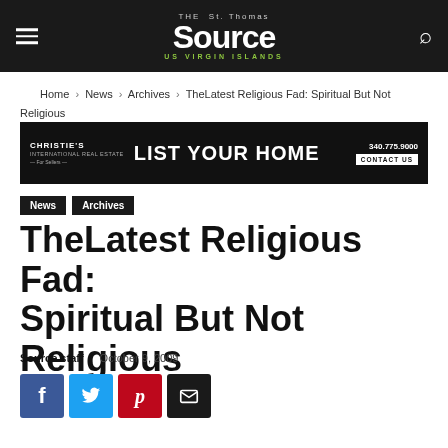THE St. Thomas Source US VIRGIN ISLANDS
Home › News › Archives › TheLatest Religious Fad: Spiritual But Not Religious
[Figure (other): Christie's International Real Estate advertisement: LIST YOUR HOME — 340.775.9000 — CONTACT US]
News
Archives
TheLatest Religious Fad: Spiritual But Not Religious
Source staff   October 9, 2009